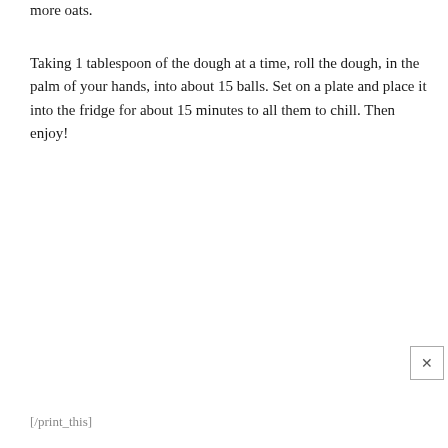more oats.
Taking 1 tablespoon of the dough at a time, roll the dough, in the palm of your hands, into about 15 balls. Set on a plate and place it into the fridge for about 15 minutes to all them to chill. Then enjoy!
[/print_this]